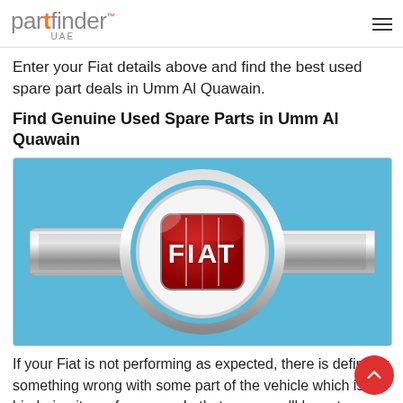partfinder UAE
Enter your Fiat details above and find the best used spare part deals in Umm Al Quawain.
Find Genuine Used Spare Parts in Umm Al Quawain
[Figure (photo): Close-up photo of a Fiat car badge/emblem on a light blue car front grille. The FIAT logo is red with white lettering inside a chrome-bordered oval, flanked by chrome horizontal trim pieces.]
If your Fiat is not performing as expected, there is definitely something wrong with some part of the vehicle which is hindering its performance. In that case, you'll have to diagnose the issue and find the right replacement part. Replacing any part with a genuine is